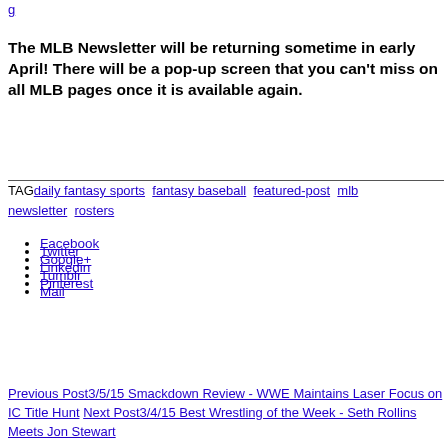g
The MLB Newsletter will be returning sometime in early April! There will be a pop-up screen that you can't miss on all MLB pages once it is available again.
TAG daily fantasy sports  fantasy baseball  featured-post  mlb newsletter  rosters
Facebook
Twitter
Google+
Linkedin
Tumblr
Pinterest
Mail
Previous Post3/5/15 Smackdown Review - WWE Maintains Laser Focus on IC Title Hunt Next Post3/4/15 Best Wrestling of the Week - Seth Rollins Meets Jon Stewart